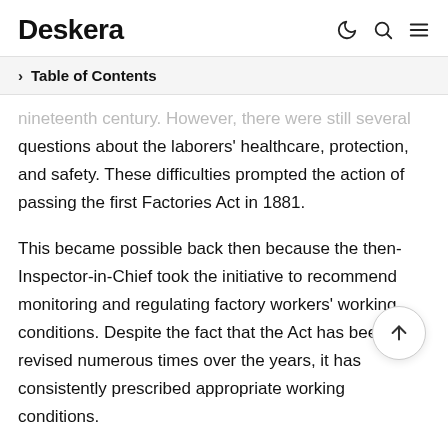Deskera
Table of Contents
nineteenth century. However, there were still several questions about the laborers' healthcare, protection, and safety. These difficulties prompted the action of passing the first Factories Act in 1881.
This became possible back then because the then-Inspector-in-Chief took the initiative to recommend monitoring and regulating factory workers' working conditions. Despite the fact that the Act has been revised numerous times over the years, it has consistently prescribed appropriate working conditions.
Once the law was practically launched, several glitches